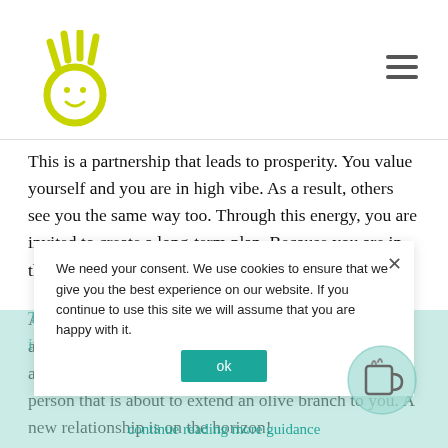[Logo: smiley hand icon] [Hamburger menu icon]
This is a partnership that leads to prosperity. You value yourself and you are in high vibe. As a result, others see you the same way too. Through this energy, you are invited to create a long-term plan. Because you are in the proper alignment to manifest.
And yes, this person who appears to be eyeing you is about to take action towards you! You may not be aware of this person yet, and this could mean a new person that is about to extend an olive branch to you. A new relationship is on the horizon!
[Partially visible teal overlay text] and sexy!... it to grow. donation! continue reading more guidance
We need your consent. We use cookies to ensure that we give you the best experience on our website. If you continue to use this site we will assume that you are happy with it. ok